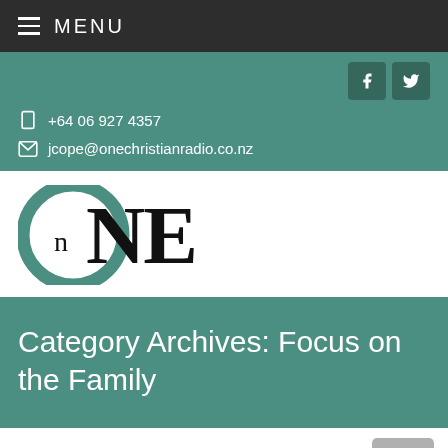MENU
+64 06 927 4357
jcope@onechristianradio.co.nz
[Figure (logo): ONE Christian Radio logo — large stylized 'O' in teal with 'NE' in black serif lettering]
Category Archives: Focus on the Family
Aspiring to be a Hero: Lessons of